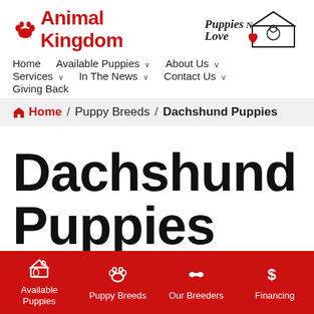[Figure (logo): Animal Kingdom logo with red paw print and red bold text, plus Puppies N Love logo with house and dog illustration]
Home  Available Puppies ∨  About Us ∨  Services ∨  In The News ∨  Contact Us ∨  Giving Back
🏠 Home /  Puppy Breeds /  Dachshund Puppies
Dachshund Puppies
Available Puppies  Puppy Breeds  Our Breeders  Financing